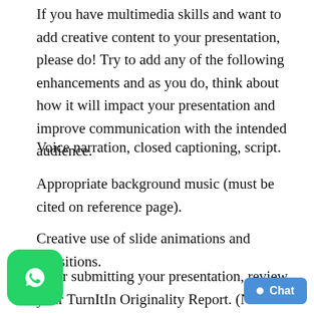If you have multimedia skills and want to add creative content to your presentation, please do! Try to add any of the following enhancements and as you do, think about how it will impact your presentation and improve communication with the intended audience.
Voice narration, closed captioning, script.
Appropriate background music (must be cited on reference page).
Creative use of slide animations and transitions.
After submitting your presentation, review your TurnItIn Originality Report. (Note: Review the individual flags, decide why that text is flagged, and corrections as appropriate.). Please see the attached rubric for grading guidelines.